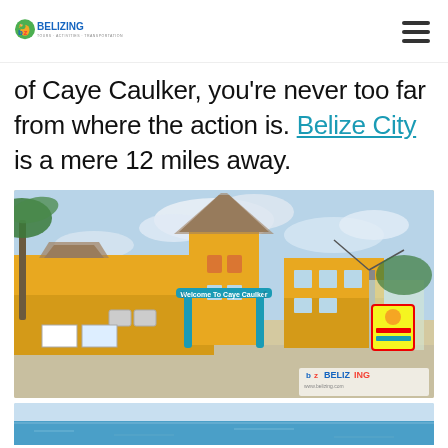BELIZING - TOURS · ACTIVITIES · TRANSPORTATION
of Caye Caulker, you're never too far from where the action is. Belize City is a mere 12 miles away.
[Figure (photo): Welcome arch to Caye Caulker with yellow buildings, thatched roofs, blue arch reading 'Welcome To Caye Caulker', palm trees, and street signage. Belizing watermark in corner.]
[Figure (photo): Partial view of coastal/ocean scene at bottom of page.]